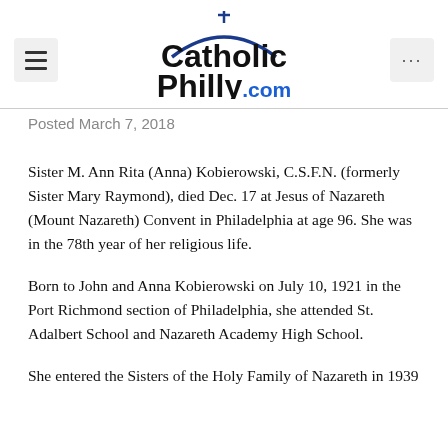CatholicPhilly.com
Posted March 7, 2018
Sister M. Ann Rita (Anna) Kobierowski, C.S.F.N. (formerly Sister Mary Raymond), died Dec. 17 at Jesus of Nazareth (Mount Nazareth) Convent in Philadelphia at age 96. She was in the 78th year of her religious life.
Born to John and Anna Kobierowski on July 10, 1921 in the Port Richmond section of Philadelphia, she attended St. Adalbert School and Nazareth Academy High School.
She entered the Sisters of the Holy Family of Nazareth in 1939...